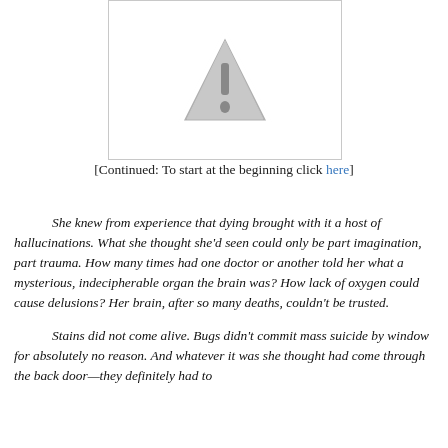[Figure (illustration): Warning triangle icon (exclamation mark inside triangle) in gray, inside a white box with a light border]
[Continued: To start at the beginning click here]
She knew from experience that dying brought with it a host of hallucinations. What she thought she'd seen could only be part imagination, part trauma. How many times had one doctor or another told her what a mysterious, indecipherable organ the brain was? How lack of oxygen could cause delusions? Her brain, after so many deaths, couldn't be trusted.
	Stains did not come alive. Bugs didn't commit mass suicide by window for absolutely no reason. And whatever it was she thought had come through the back door—they definitely had to